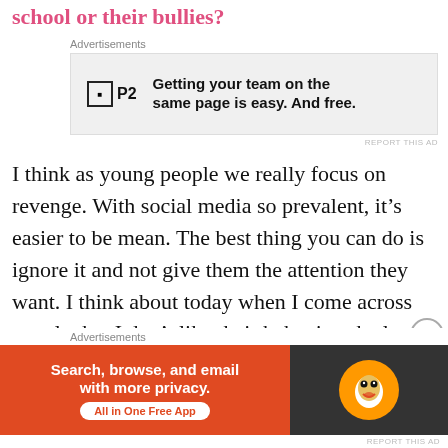school or their bullies?
[Figure (screenshot): Advertisement banner for P2 - 'Getting your team on the same page is easy. And free.']
I think as young people we really focus on revenge. With social media so prevalent, it's easier to be mean. The best thing you can do is ignore it and not give them the attention they want. I think about today when I come across people that I don't like their behavior, the less attention you give it, hopefully they'll start to understand that it's not desirable behavior. It's hard as a
[Figure (screenshot): Advertisement banner for DuckDuckGo - 'Search, browse, and email with more privacy. All in One Free App']